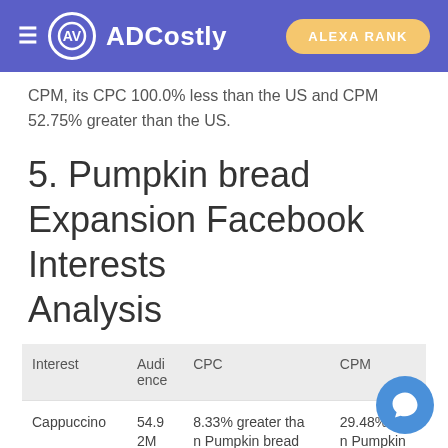ADCostly — ALEXA RANK
CPM, its CPC 100.0% less than the US and CPM 52.75% greater than the US.
5. Pumpkin bread Expansion Facebook Interests Analysis
| Interest | Audience | CPC | CPM |
| --- | --- | --- | --- |
| Cappuccino | 54.92M | 8.33% greater than Pumpkin bread | 29.48% less than Pumpkin bread |